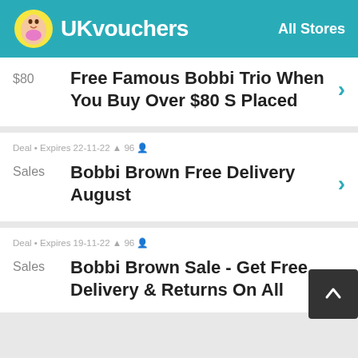UKvouchers  All Stores
$80  Free Famous Bobbi Trio When You Buy Over $80 S Placed
Deal • Expires 22-11-22 🔔 96 👤  Sales  Bobbi Brown Free Delivery August
Deal • Expires 19-11-22 🔔 96 👤  Sales  Bobbi Brown Sale - Get Free Delivery & Returns On All Foundations &